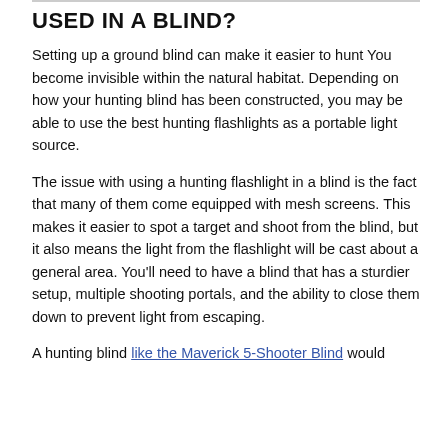USED IN A BLIND?
Setting up a ground blind can make it easier to hunt You become invisible within the natural habitat. Depending on how your hunting blind has been constructed, you may be able to use the best hunting flashlights as a portable light source.
The issue with using a hunting flashlight in a blind is the fact that many of them come equipped with mesh screens. This makes it easier to spot a target and shoot from the blind, but it also means the light from the flashlight will be cast about a general area. You'll need to have a blind that has a sturdier setup, multiple shooting portals, and the ability to close them down to prevent light from escaping.
A hunting blind like the Maverick 5-Shooter Blind would